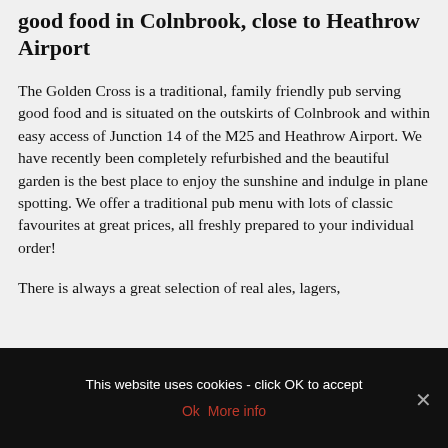good food in Colnbrook, close to Heathrow Airport
The Golden Cross is a traditional, family friendly pub serving good food and is situated on the outskirts of Colnbrook and within easy access of Junction 14 of the M25 and Heathrow Airport. We have recently been completely refurbished and the beautiful garden is the best place to enjoy the sunshine and indulge in plane spotting. We offer a traditional pub menu with lots of classic favourites at great prices, all freshly prepared to your individual order!
There is always a great selection of real ales, lagers,
This website uses cookies - click OK to accept
Ok  More info